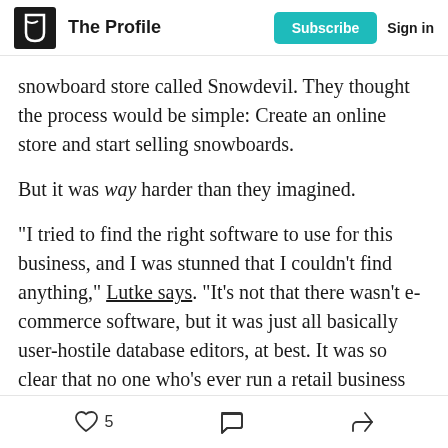The Profile | Subscribe | Sign in
snowboard store called Snowdevil. They thought the process would be simple: Create an online store and start selling snowboards.
But it was way harder than they imagined.
“I tried to find the right software to use for this business, and I was stunned that I couldn’t find anything,” Lutke says. "It’s not that there wasn’t e-commerce software, but it was just all basically user-hostile database editors, at best. It was so clear that no one who’s ever run a retail business had had any part in building these pieces of software."
5 likes | comment | share